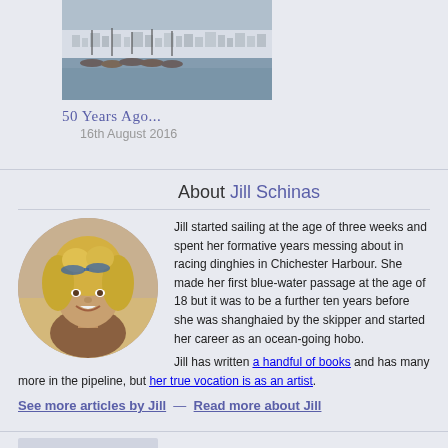[Figure (photo): Harbor with boats and snow-dusted hillside town in background]
50 Years Ago...
16th August 2016
About Jill Schinas
[Figure (photo): Circular portrait photo of Jill Schinas, a woman with curly blonde hair and blue sunglasses on her head, smiling]
Jill started sailing at the age of three weeks and spent her formative years messing about in racing dinghies in Chichester Harbour. She made her first blue-water passage at the age of 18 but it was to be a further ten years before she was shanghaied by the skipper and started her career as an ocean-going hobo.
Jill has written a handful of books and has many more in the pipeline, but her true vocation is as an artist.
See more articles by Jill — Read more about Jill